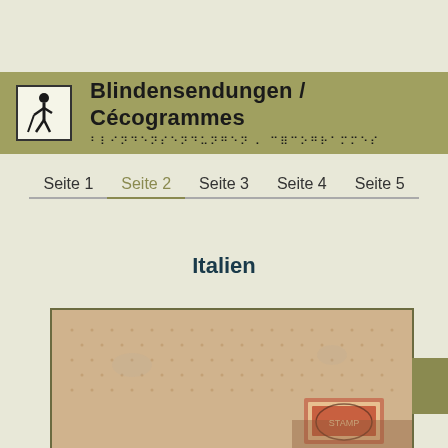Blindensendungen / Cécogrammes
Seite 1  Seite 2  Seite 3  Seite 4  Seite 5
Italien
[Figure (photo): Close-up photograph of a historical postal envelope or letter with a postage stamp visible in the lower right area, showing aged cream/tan paper with braille-like dot patterns and a red/brown stamp.]